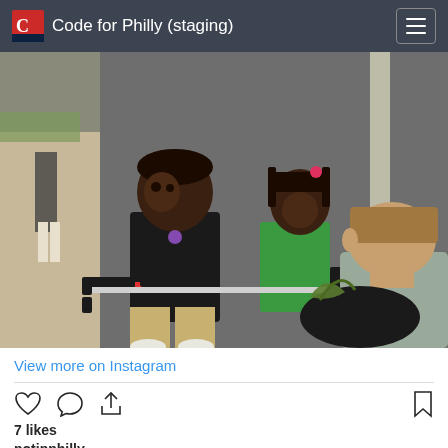Code for Philly (staging)
[Figure (photo): Two young girls on a sidewalk using long-handled grabber tools to pick up trash into a black bag held by a man seated in the foreground. The girls are dressed casually; one in black shirt, one in green shirt.]
View more on Instagram
7 likes
notinphilly